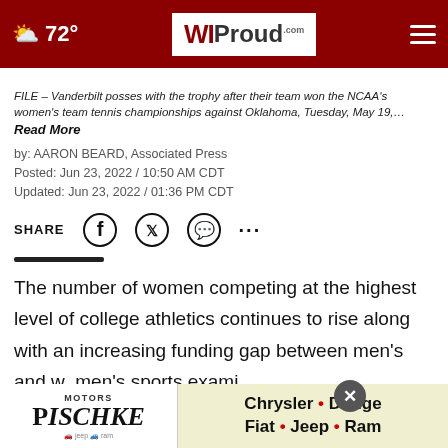72° WIProud.com
FILE – Vanderbilt posses with the trophy after their team won the NCAA's women's team tennis championships against Oklahoma, Tuesday, May 19,…
Read More
by: AARON BEARD, Associated Press
Posted: Jun 23, 2022 / 10:50 AM CDT
Updated: Jun 23, 2022 / 01:36 PM CDT
SHARE
The number of women competing at the highest level of college athletics continues to rise along with an increasing funding gap between men's and women's sports… exami…
[Figure (other): Pischke Motors advertisement banner: Chrysler • Dodge Fiat • Jeep • Ram]